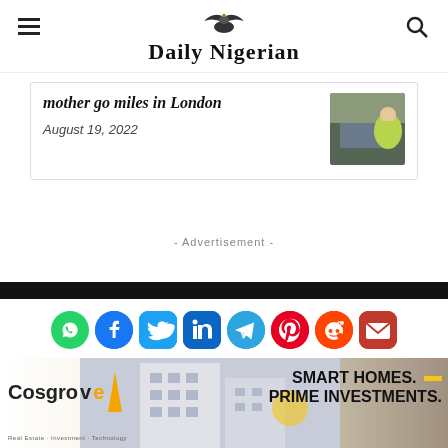Daily Nigerian
mother go miles in London
August 19, 2022
- Advertisement -
[Figure (screenshot): Social media share icons: WhatsApp, Facebook, Twitter, LinkedIn, Telegram, Pinterest, Reddit, Email]
[Figure (photo): Cosgrove Real Estate advertisement banner: Smart Homes. Prime Investments.]